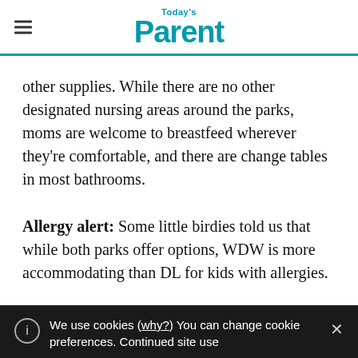Today's Parent
other supplies. While there are no other designated nursing areas around the parks, moms are welcome to breastfeed wherever they're comfortable, and there are change tables in most bathrooms.
Allergy alert: Some little birdies told us that while both parks offer options, WDW is more accommodating than DL for kids with allergies.
We use cookies (why?) You can change cookie preferences. Continued site use